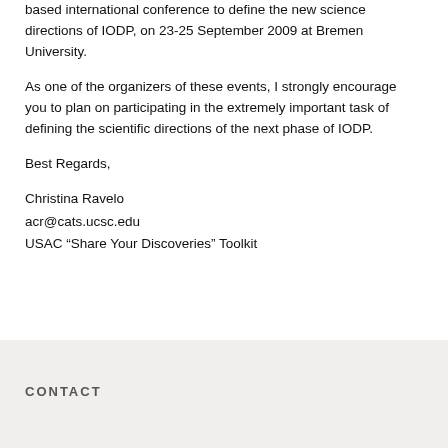based international conference to define the new science directions of IODP, on 23-25 September 2009 at Bremen University.
As one of the organizers of these events, I strongly encourage you to plan on participating in the extremely important task of defining the scientific directions of the next phase of IODP.
Best Regards,
Christina Ravelo
acr@cats.ucsc.edu
USAC “Share Your Discoveries” Toolkit
CONTACT